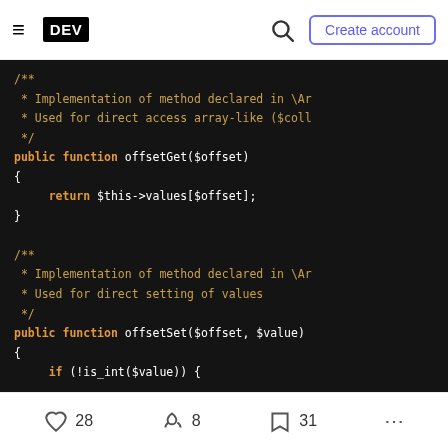DEV — Create account
[Figure (screenshot): Code editor screenshot showing PHP code with two doc comments and method signatures: offsetGet($offset) returning $this->values[$offset] and offsetSet($offset, $value) with if (!is_int($value)) check. Dark background with orange/white syntax highlighting.]
28 likes  8 reactions  31 saves  ...